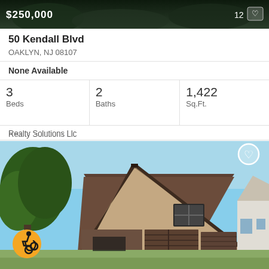[Figure (photo): Top portion of a house listing photo showing dark green trees against dark background, with price $250,000 overlaid in white bold text on top left]
50 Kendall Blvd
OAKLYN, NJ 08107
None Available
| Beds | Baths | Sq.Ft. |
| --- | --- | --- |
| 3 | 2 | 1,422 |
Realty Solutions Llc
[Figure (photo): Exterior photo of a tan/beige A-frame style house with steep triangular roof, a car port or garage area with dark garage door, window near peak, adjacent white house visible on right, trees on left, blue sky background. Wheelchair accessibility icon in bottom left, heart/favorite icon in top right.]